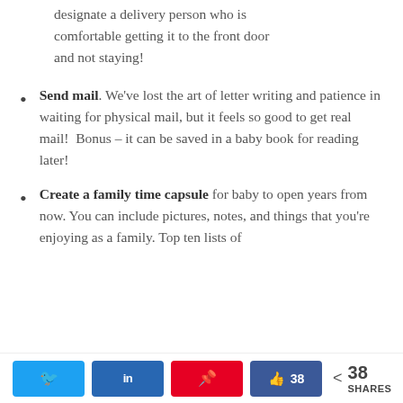designate a delivery person who is comfortable getting it to the front door and not staying!
Send mail. We've lost the art of letter writing and patience in waiting for physical mail, but it feels so good to get real mail!  Bonus – it can be saved in a baby book for reading later!
Create a family time capsule for baby to open years from now. You can include pictures, notes, and things that you're enjoying as a family. Top ten lists of
< 38 SHARES [Twitter] [LinkedIn] [Pinterest] [Facebook 38]